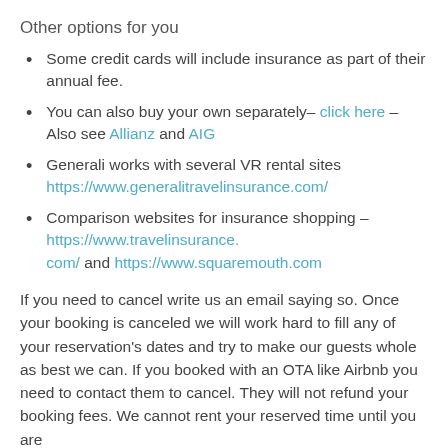Other options for you
Some credit cards will include insurance as part of their annual fee.
You can also buy your own separately– click here – Also see Allianz and AIG
Generali works with several VR rental sites https://www.generalitravelinsurance.com/
Comparison websites for insurance shopping – https://www.travelinsurance.com/ and https://www.squaremouth.com
If you need to cancel write us an email saying so. Once your booking is canceled we will work hard to fill any of your reservation's dates and try to make our guests whole as best we can. If you booked with an OTA like Airbnb you need to contact them to cancel. They will not refund your booking fees. We cannot rent your reserved time until you are